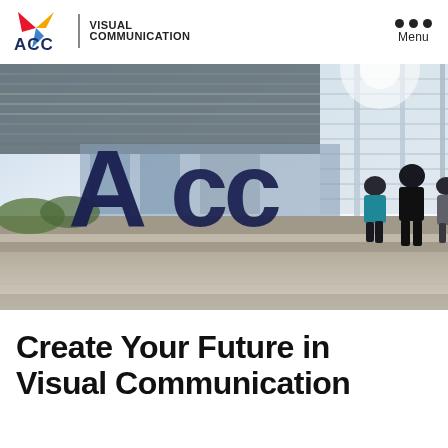ACC VISUAL COMMUNICATION | Menu
[Figure (photo): Students walking toward large ACC lettering sculpture outside Austin Community College campus building with glass canopy roof and sunlight]
Create Your Future in Visual Communication